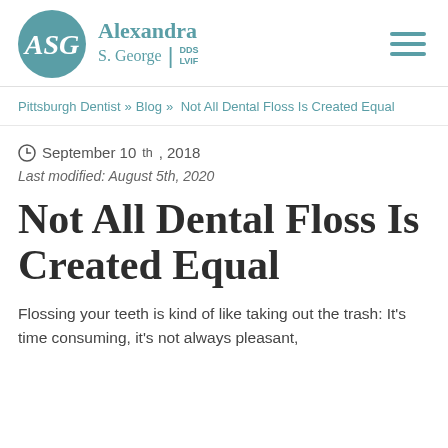[Figure (logo): Alexandra S. George DDS LVIF dental practice logo with teal circle containing cursive ASG initials and teal text name]
Pittsburgh Dentist » Blog » Not All Dental Floss Is Created Equal
September 10th, 2018
Last modified: August 5th, 2020
Not All Dental Floss Is Created Equal
Flossing your teeth is kind of like taking out the trash: It's time consuming, it's not always pleasant,